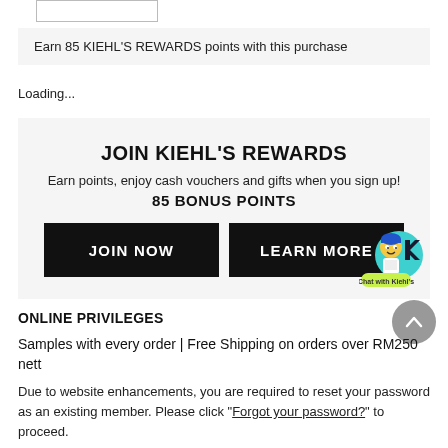[Figure (other): Small rectangular input box outline at the top of the page]
Earn 85 KIEHL'S REWARDS points with this purchase
Loading...
JOIN KIEHL'S REWARDS
Earn points, enjoy cash vouchers and gifts when you sign up!
85 BONUS POINTS
JOIN NOW   LEARN MORE
ONLINE PRIVILEGES
Samples with every order | Free Shipping on orders over RM250 nett
Due to website enhancements, you are required to reset your password as an existing member. Please click “Forgot your password?” to proceed.